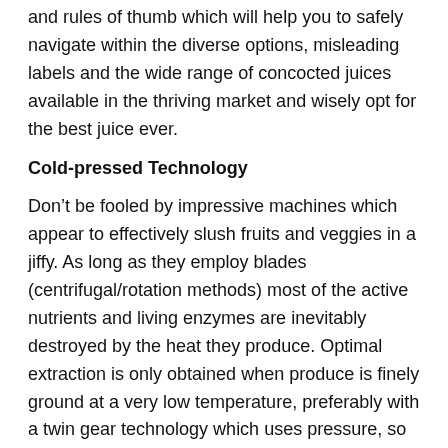and rules of thumb which will help you to safely navigate within the diverse options, misleading labels and the wide range of concocted juices available in the thriving market and wisely opt for the best juice ever.
Cold-pressed Technology
Don’t be fooled by impressive machines which appear to effectively slush fruits and veggies in a jiffy. As long as they employ blades (centrifugal/rotation methods) most of the active nutrients and living enzymes are inevitably destroyed by the heat they produce. Optimal extraction is only obtained when produce is finely ground at a very low temperature, preferably with a twin gear technology which uses pressure, so that the vital nutrients and enzymes nested deep in the fibre are successfully squeezed out.
Certified Organic